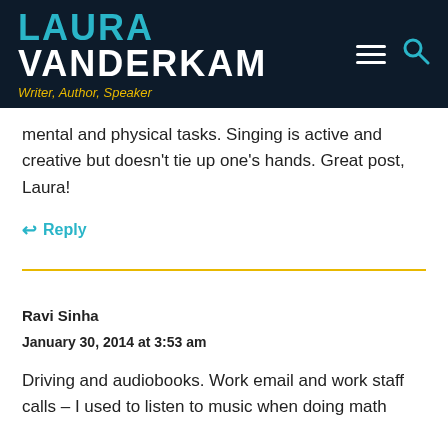LAURA VANDERKAM — Writer, Author, Speaker
mental and physical tasks. Singing is active and creative but doesn't tie up one's hands. Great post, Laura!
↩ Reply
Ravi Sinha
January 30, 2014 at 3:53 am
Driving and audiobooks. Work email and work staff calls – I used to listen to music when doing math